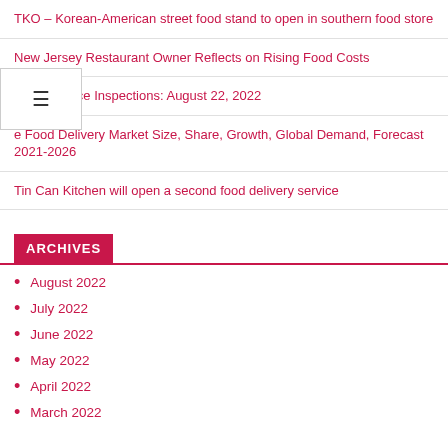TKO – Korean-American street food stand to open in southern food store
New Jersey Restaurant Owner Reflects on Rising Food Costs
Food Service Inspections: August 22, 2022
e Food Delivery Market Size, Share, Growth, Global Demand, Forecast 2021-2026
Tin Can Kitchen will open a second food delivery service
ARCHIVES
August 2022
July 2022
June 2022
May 2022
April 2022
March 2022